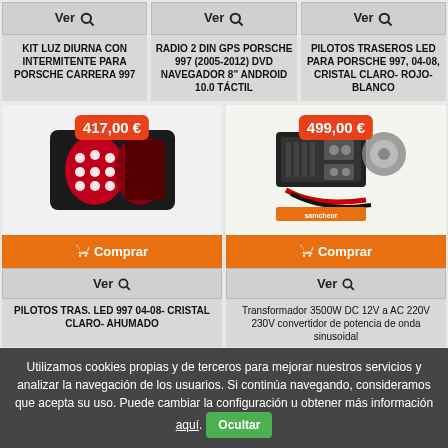[Figure (other): Product card top strip: Ver button for KIT LUZ DIURNA CON INTERMITENTE PARA PORSCHE CARRERA 997]
KIT LUZ DIURNA CON INTERMITENTE PARA PORSCHE CARRERA 997
[Figure (other): Product card top strip: Ver button for RADIO 2 DIN GPS PORSCHE 997 (2005-2012) DVD NAVEGADOR 8" ANDROID 10.0 TÁCTIL]
RADIO 2 DIN GPS PORSCHE 997 (2005-2012) DVD NAVEGADOR 8" ANDROID 10.0 TÁCTIL
[Figure (other): Product card top strip: Ver button for PILOTOS TRASEROS LED PARA PORSCHE 997, 04-08, CRISTAL CLARO- ROJO- BLANCO]
PILOTOS TRASEROS LED PARA PORSCHE 997, 04-08, CRISTAL CLARO- ROJO- BLANCO
[Figure (photo): Product card: PILOTOS TRAS. LED 997 04-08- CRISTAL CLARO- AHUMADO, price 417,00 €, with Comprar and Ver buttons]
417,00 €
PILOTOS TRAS. LED 997 04-08- CRISTAL CLARO- AHUMADO
[Figure (photo): Product card: Transformador 3500W DC 12V a AC 220V 230V convertidor de potencia de onda sinusoidal, price 499,00 €, with Comprar and Ver buttons]
499,00 €
Transformador 3500W DC 12V a AC 220V 230V convertidor de potencia de onda sinusoidal
Utilizamos cookies propias y de terceros para mejorar nuestros servicios y analizar la navegación de los usuarios. Si continúa navegando, consideramos que acepta su uso. Puede cambiar la configuración u obtener más información aquí. Ocultar